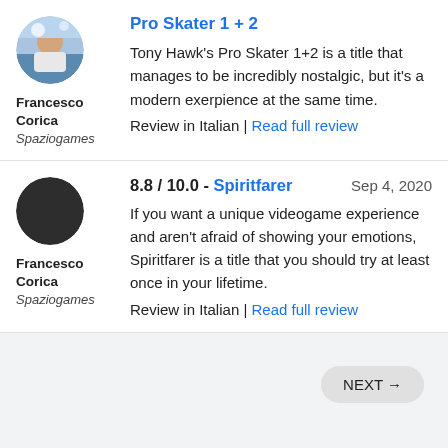[Figure (photo): User avatar photo of Francesco Corica (first review, Tony Hawk's Pro Skater 1+2), circular profile image with winter/gaming theme]
Francesco Corica
Spaziogames
Pro Skater 1 + 2
Tony Hawk's Pro Skater 1+2 is a title that manages to be incredibly nostalgic, but it's a modern exerpience at the same time.
Review in Italian | Read full review
[Figure (photo): User avatar photo of Francesco Corica (second review, Spiritfarer), dark circular profile image]
Francesco Corica
Spaziogames
8.8 / 10.0 - Spiritfarer   Sep 4, 2020
If you want a unique videogame experience and aren't afraid of showing your emotions, Spiritfarer is a title that you should try at least once in your lifetime.
Review in Italian | Read full review